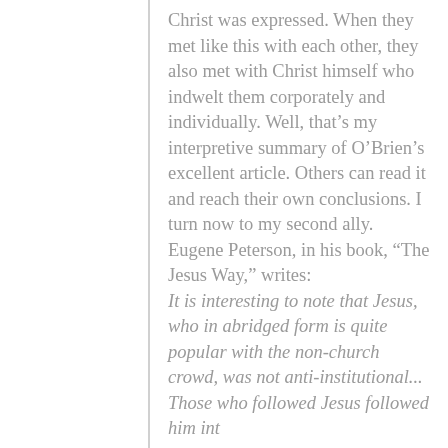Christ was expressed. When they met like this with each other, they also met with Christ himself who indwelt them corporately and individually. Well, that’s my interpretive summary of O’Brien’s excellent article. Others can read it and reach their own conclusions. I turn now to my second ally. Eugene Peterson, in his book, “The Jesus Way,” writes: It is interesting to note that Jesus, who in abridged form is quite popular with the non-church crowd, was not anti-institutional... Those who followed Jesus followed him into...